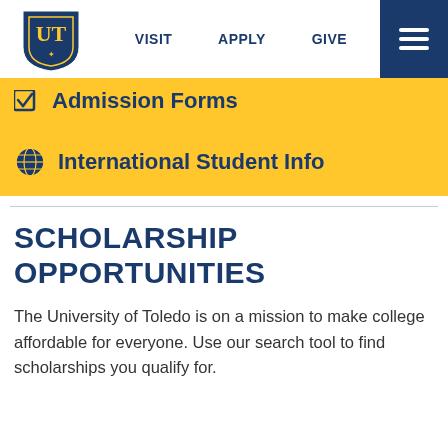VISIT   APPLY   GIVE
[Figure (logo): University of Toledo shield logo with UT letters in gold and blue]
Admission Forms
International Student Info
SCHOLARSHIP OPPORTUNITIES
The University of Toledo is on a mission to make college affordable for everyone. Use our search tool to find scholarships you qualify for.